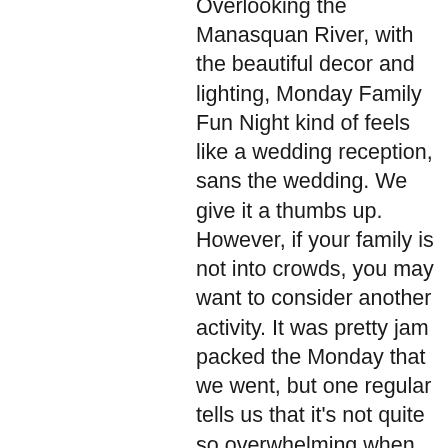Overlooking the Manasquan River, with the beautiful decor and lighting, Monday Family Fun Night kind of feels like a wedding reception, sans the wedding. We give it a thumbs up. However, if your family is not into crowds, you may want to consider another activity. It was pretty jam packed the Monday that we went, but one regular tells us that it's not quite so overwhelming when outside of the holiday season. Many families make River Rock's Family Fun Night a weekly activity, and we can understand why. For the price of it all and the lively entertainment, everyone leaves happy. Reservations are a must, and making them the day of seems to suffice. River